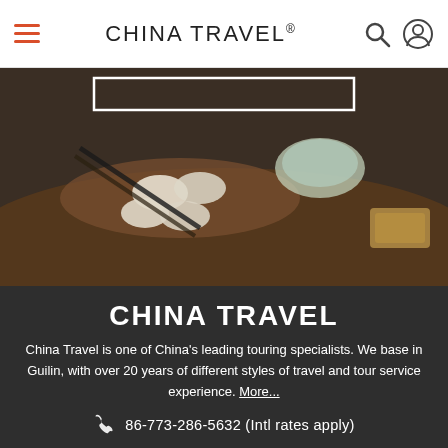CHINA TRAVEL®
[Figure (photo): Close-up photo of Chinese dumplings/baozi in a wooden steamer basket, with chopsticks and a small sauce bowl visible. Dark, moody lighting with warm brown tones.]
CHINA TRAVEL
China Travel is one of China's leading touring specialists. We base in Guilin, with over 20 years of different styles of travel and tour service experience. More...
86-773-286-5632 (Intl rates apply)